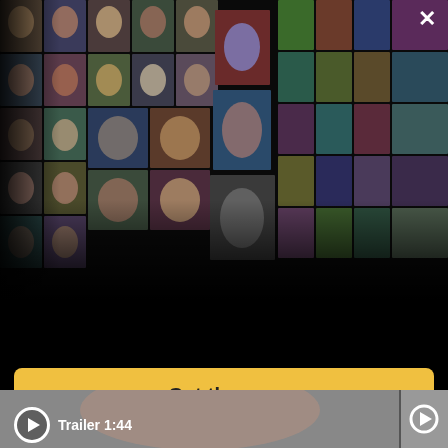[Figure (photo): Collage of celebrity headshots and movie poster thumbnails arranged in a perspective grid on a dark background, forming the IMDb app promotional banner]
For maximum IMDb, view in the app
Get the app
[Figure (screenshot): Video thumbnail showing a close-up of a person's face (trailer preview), with a play button and label 'Trailer 1:44' in the bottom left, and a second play button at the right edge]